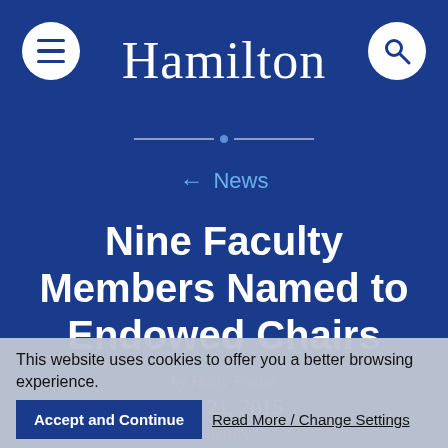Hamilton
← News
Nine Faculty Members Named to Endowed Chairs
by Holly Foster
July 21, 2015
Faculty
This website uses cookies to offer you a better browsing experience.
Accept and Continue
Read More / Change Settings